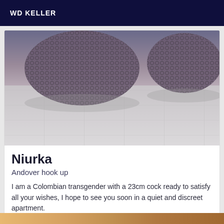WD KELLER
[Figure (photo): Close-up photo of feet wearing fishnet stockings on a light wooden floor]
Niurka
Andover hook up
I am a Colombian transgender with a 23cm cock ready to satisfy all your wishes, I hope to see you soon in a quiet and discreet apartment.